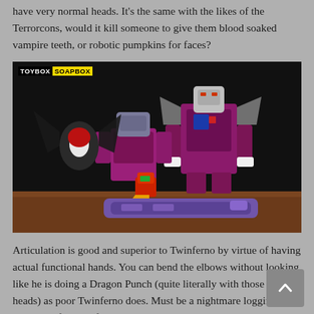have very normal heads. It's the same with the likes of the Terrorcons, would it kill someone to give them blood soaked vampire teeth, or robotic pumpkins for faces?
[Figure (photo): Photo of several Transformers action figures (Terrorcons and related characters) posed on a wooden surface against a dark background. Watermark reads TOYBOX SOAPBOX in top-left corner.]
Articulation is good and superior to Twinferno by virtue of having actual functional hands. You can bend the elbows without looking like he is doing a Dragon Punch (quite literally with those Dragon heads) as poor Twinferno does. Must be a nightmare logging into Facebook for Twinferno. Imagine what his text messages